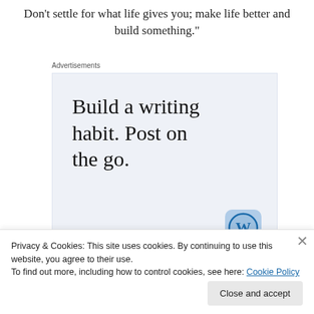Don't settle for what life gives you; make life better and build something."
Advertisements
[Figure (infographic): WordPress advertisement with text 'Build a writing habit. Post on the go.' and a 'GET THE APP' call to action with WordPress logo]
Privacy & Cookies: This site uses cookies. By continuing to use this website, you agree to their use.
To find out more, including how to control cookies, see here: Cookie Policy